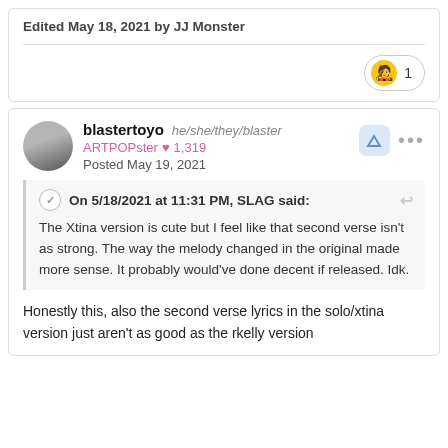Edited May 18, 2021 by JJ Monster
1
blastertoyo he/she/they/blaster
ARTPOPster ♥ 1,319
Posted May 19, 2021
On 5/18/2021 at 11:31 PM, SLAG said:
The Xtina version is cute but I feel like that second verse isn't as strong. The way the melody changed in the original made more sense. It probably would've done decent if released. Idk.
Honestly this, also the second verse lyrics in the solo/xtina version just aren't as good as the rkelly version